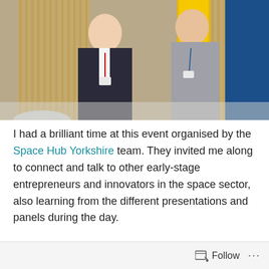[Figure (photo): Two women standing side by side indoors, smiling. One wearing a dark blazer with a lanyard, the other in a grey knit top with a lanyard. Behind them is a yellow cylindrical object with 'LURA' text, wooden slat walls, and a blue partition. The setting appears to be an exhibition or conference space.]
I had a brilliant time at this event organised by the Space Hub Yorkshire team. They invited me along to connect and talk to other early-stage entrepreneurs and innovators in the space sector, also learning from the different presentations and panels during the day.
It was two years to the day since opening an email from the UK Space Agency about my success with
Follow ...